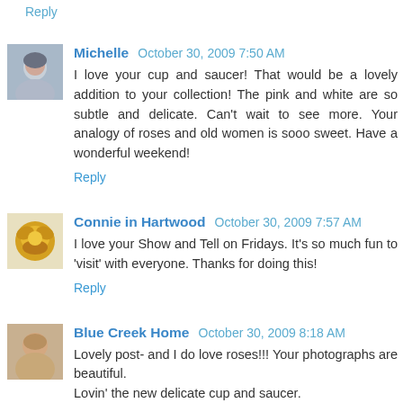Reply
Michelle  October 30, 2009 7:50 AM
I love your cup and saucer! That would be a lovely addition to your collection! The pink and white are so subtle and delicate. Can't wait to see more. Your analogy of roses and old women is sooo sweet. Have a wonderful weekend!
Reply
Connie in Hartwood  October 30, 2009 7:57 AM
I love your Show and Tell on Fridays. It's so much fun to 'visit' with everyone. Thanks for doing this!
Reply
Blue Creek Home  October 30, 2009 8:18 AM
Lovely post- and I do love roses!!! Your photographs are beautiful.
Lovin' the new delicate cup and saucer.